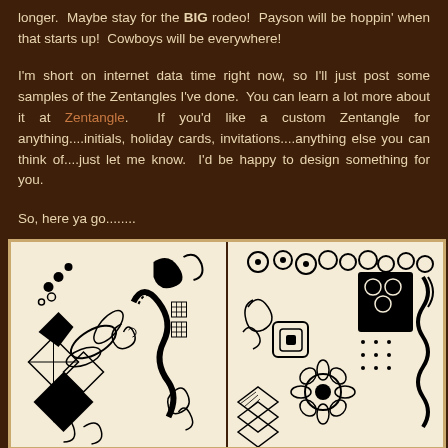longer.  Maybe stay for the BIG rodeo!  Payson will be hoppin' when that starts up!  Cowboys will be everywhere!
I'm short on internet data time right now, so I'll just post some samples of the Zentangles I've done.  You can learn a lot more about it at Zentangle.  If you'd like a custom Zentangle for anything....initials, holiday cards, invitations....anything else you can think of....just let me know.  I'd be happy to design something for you.
So, here ya go........
[Figure (illustration): Two black-and-white Zentangle art pieces side by side. Left: intricate tangles with leaves, diamonds, spirals, and organic patterns. Right: complex tangles including a flower, wavy lines, circles, and geometric shapes.]